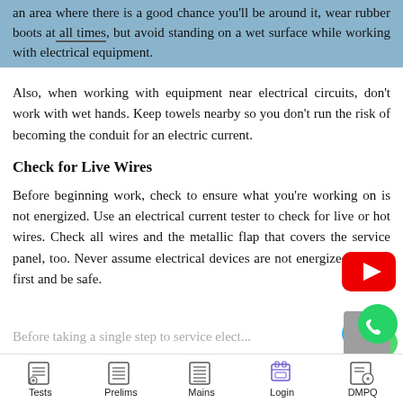an area where there is a good chance you'll be around it, wear rubber boots at all times, but avoid standing on a wet surface while working with electrical equipment.
Also, when working with equipment near electrical circuits, don't work with wet hands. Keep towels nearby so you don't run the risk of becoming the conduit for an electric current.
Check for Live Wires
Before beginning work, check to ensure what you're working on is not energized. Use an electrical current tester to check for live or hot wires. Check all wires and the metallic flap that covers the service panel, too. Never assume electrical devices are not energized. Check first and be safe.
Before taking a single step to service elec...
[Figure (logo): YouTube play button icon (red rounded rectangle with white triangle)]
[Figure (logo): Chat/messaging bubble icon (teal/blue with three dots)]
[Figure (logo): WhatsApp green circle phone icon]
Tests | Prelims | Mains | Login | DMPQ